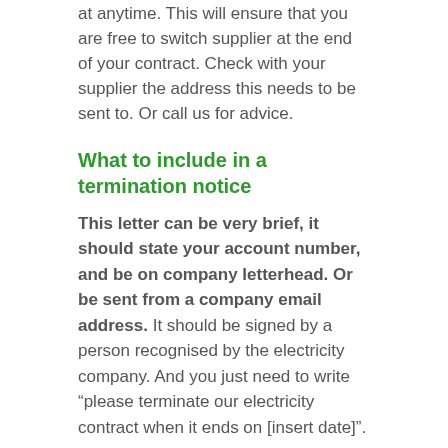at anytime. This will ensure that you are free to switch supplier at the end of your contract. Check with your supplier the address this needs to be sent to. Or call us for advice.
What to include in a termination notice
This letter can be very brief, it should state your account number, and be on company letterhead. Or be sent from a company email address. It should be signed by a person recognised by the electricity company. And you just need to write “please terminate our electricity contract when it ends on [insert date]”.
If you log this notice by email, you should check with your supplier, the correct email address it should be sent to. Some suppliers will have a